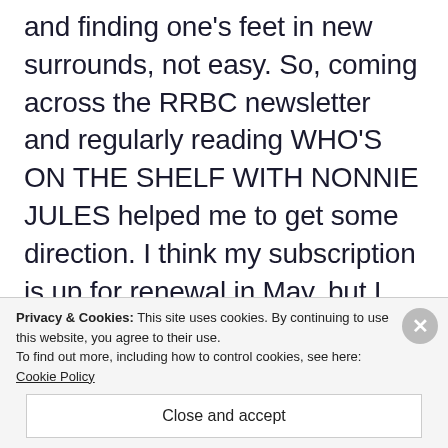and finding one's feet in new surrounds, not easy. So, coming across the RRBC newsletter and regularly reading WHO'S ON THE SHELF WITH NONNIE JULES helped me to get some direction. I think my subscription is up for renewal in May, but I lost time getting into the swing of things immediately, when we were unexpectedly offered a ground floor flat with a garden in drier surrounds. So moving
Privacy & Cookies: This site uses cookies. By continuing to use this website, you agree to their use.
To find out more, including how to control cookies, see here: Cookie Policy
Close and accept